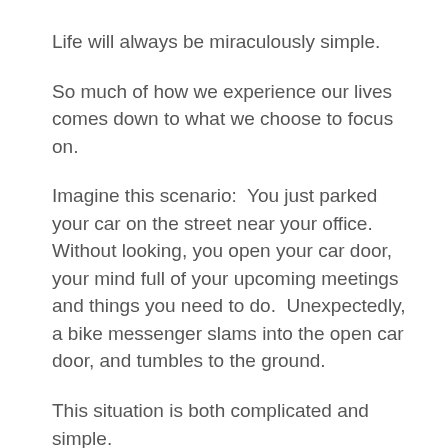Life will always be miraculously simple.
So much of how we experience our lives comes down to what we choose to focus on.
Imagine this scenario:  You just parked your car on the street near your office. Without looking, you open your car door, your mind full of your upcoming meetings and things you need to do.  Unexpectedly, a bike messenger slams into the open car door, and tumbles to the ground.
This situation is both complicated and simple.
On the one hand, it's easy bring blame and anger into